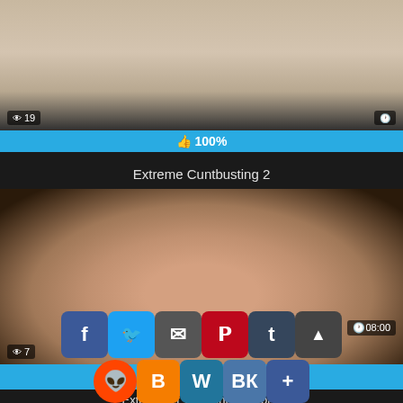[Figure (screenshot): Video thumbnail showing legs, with view count badge '19' and clock icon. Below is a cyan progress bar showing 100% with thumbs up icon.]
Extreme Cuntbusting 2
[Figure (screenshot): Second video thumbnail showing body, with view count '7' and duration '08:00'. Social share icons overlay at bottom including Facebook, Twitter, Email, Pinterest, Tumblr, scroll-up, Reddit, Blogger, WordPress, VK, and plus button.]
Extreme V...t T...iz...Be...ent Out For a